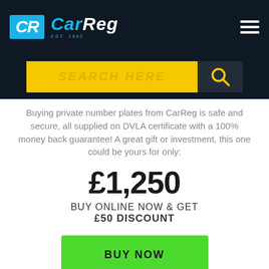[Figure (logo): CarReg logo with CR icon in blue on dark header, with hamburger menu icon on right]
[Figure (screenshot): Yellow search bar with 'SEARCH HERE' placeholder text and search icon button on dark background]
Buying private number plates from CarReg is safe and secure, all supplied on DVLA certificate with a 100% money back guarantee! A great gift or investment, this one could be yours for only:
£1,250
BUY ONLINE NOW & GET £50 DISCOUNT
BUY NOW
MAKE AN ENQUIRY